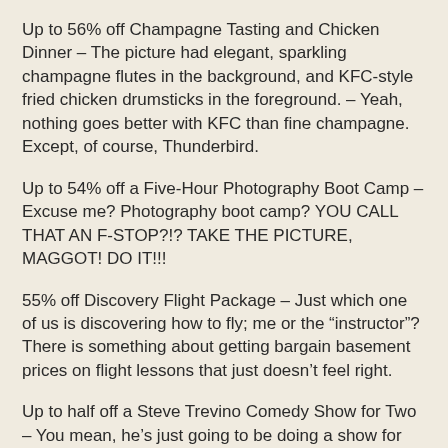Up to 56% off Champagne Tasting and Chicken Dinner – The picture had elegant, sparkling champagne flutes in the background, and KFC-style fried chicken drumsticks in the foreground. – Yeah, nothing goes better with KFC than fine champagne. Except, of course, Thunderbird.
Up to 54% off a Five-Hour Photography Boot Camp – Excuse me? Photography boot camp? YOU CALL THAT AN F-STOP?!? TAKE THE PICTURE, MAGGOT! DO IT!!!
55% off Discovery Flight Package – Just which one of us is discovering how to fly; me or the “instructor”? There is something about getting bargain basement prices on flight lessons that just doesn’t feel right.
Up to half off a Steve Trevino Comedy Show for Two – You mean, he’s just going to be doing a show for two of us? That seems like it would be awkward.
Up to 76% off Smartlipo or Tickle Liposuction – Tickle Liposuction???? I don’t even know what to think about that.